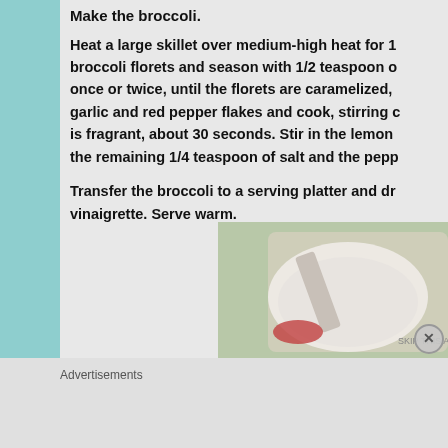Make the broccoli.
Heat a large skillet over medium-high heat for 1 broccoli florets and season with 1/2 teaspoon o once or twice, until the florets are caramelized, garlic and red pepper flakes and cook, stirring c is fragrant, about 30 seconds. Stir in the lemon the remaining 1/4 teaspoon of salt and the pepp
Transfer the broccoli to a serving platter and dr vinaigrette. Serve warm.
[Figure (photo): A glass bowl or blender with white creamy mixture and a spoon, being stirred by a hand with red painted nails]
Advertisements